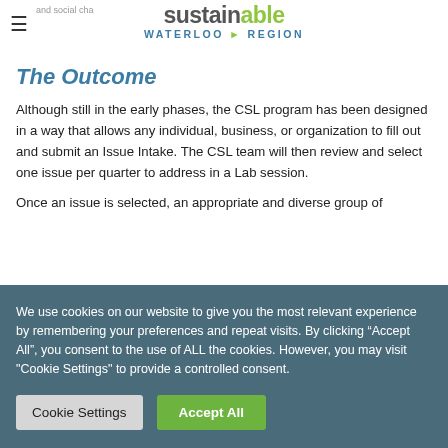sustainable WATERLOO REGION
The Outcome
Although still in the early phases, the CSL program has been designed in a way that allows any individual, business, or organization to fill out and submit an Issue Intake. The CSL team will then review and select one issue per quarter to address in a Lab session.
Once an issue is selected, an appropriate and diverse group of
We use cookies on our website to give you the most relevant experience by remembering your preferences and repeat visits. By clicking “Accept All”, you consent to the use of ALL the cookies. However, you may visit "Cookie Settings" to provide a controlled consent.